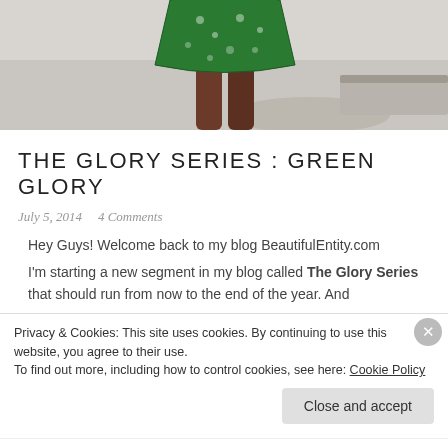[Figure (photo): Partial photo of a person wearing a green patterned skirt/dress, showing legs and lower body, photographed outdoors on a light concrete surface.]
THE GLORY SERIES : GREEN GLORY
July 5, 2014   4 Comments
Hey Guys! Welcome back to my blog BeautifulEntity.com
I'm starting a new segment in my blog called The Glory Series that should run from now to the end of the year. And
Privacy & Cookies: This site uses cookies. By continuing to use this website, you agree to their use.
To find out more, including how to control cookies, see here: Cookie Policy
Close and accept